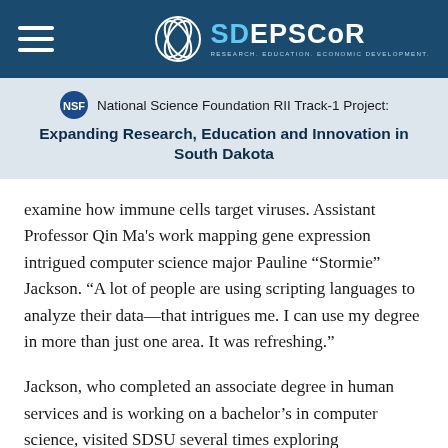SD EPSCoR — Research. Education. Economic Development.
National Science Foundation RII Track-1 Project: Expanding Research, Education and Innovation in South Dakota
examine how immune cells target viruses. Assistant Professor Qin Ma’s work mapping gene expression intrigued computer science major Pauline “Stormie” Jackson. “A lot of people are using scripting languages to analyze their data—that intrigues me. I can use my degree in more than just one area. It was refreshing.”
Jackson, who completed an associate degree in human services and is working on a bachelor’s in computer science, visited SDSU several times exploring